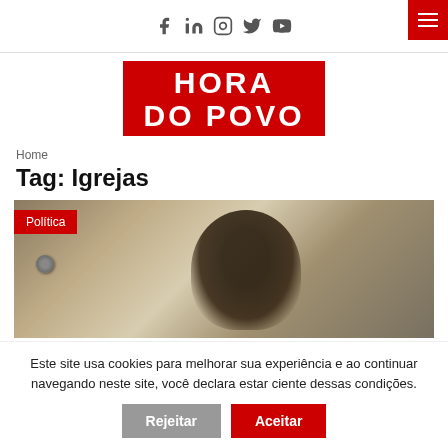Social icons: Facebook, LinkedIn, Instagram, Twitter, YouTube
[Figure (logo): Hora do Povo logo — white bold text on red background, two lines: HORA / DO POVO]
Home
Tag: Igrejas
[Figure (photo): Photo of a man with dark curly hair, partial face visible, with a red 'Política' category badge in top-left corner]
Este site usa cookies para melhorar sua experiência e ao continuar navegando neste site, você declara estar ciente dessas condições.